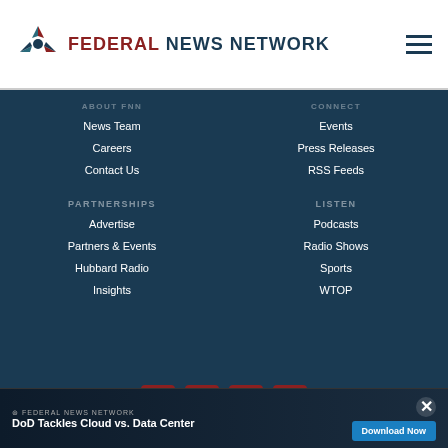[Figure (logo): Federal News Network logo with stylized pinwheel icon in red, teal, dark blue; text 'FEDERAL NEWS NETWORK' in dark blue with FEDERAL in dark red]
News Team
Careers
Contact Us
Events
Press Releases
RSS Feeds
PARTNERSHIPS
Advertise
Partners & Events
Hubbard Radio
Insights
LISTEN
Podcasts
Radio Shows
Sports
WTOP
[Figure (infographic): Social media icons: Facebook, Twitter, LinkedIn, Instagram — all red square buttons with white icons]
[Figure (infographic): App store badges: Download on the App Store (Apple), Get it on Google Play]
[Figure (infographic): Banner advertisement: DoD Tackles Cloud vs. Data Center with Federal News Network logo and Download Now button]